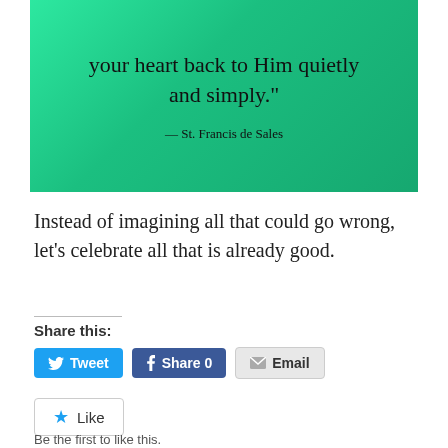[Figure (illustration): Green gradient background with handwritten-style text quote ending with 'your heart back to Him quietly and simply.' and attribution '— St. Francis de Sales']
Instead of imagining all that could go wrong,  let's celebrate all that is already good.
Share this:
[Figure (screenshot): Social sharing buttons: Tweet (blue), Share 0 (Facebook blue), Email (grey)]
[Figure (screenshot): Like button with star icon]
Be the first to like this.